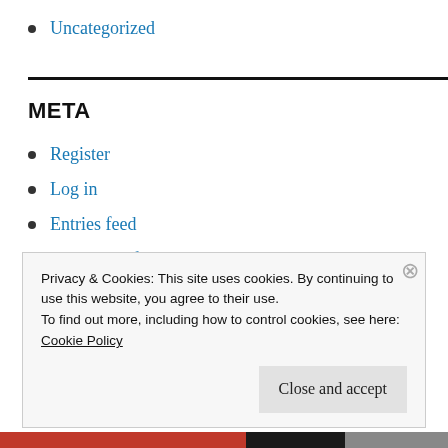Uncategorized
META
Register
Log in
Entries feed
Comments feed
Privacy & Cookies: This site uses cookies. By continuing to use this website, you agree to their use.
To find out more, including how to control cookies, see here:
Cookie Policy

Close and accept